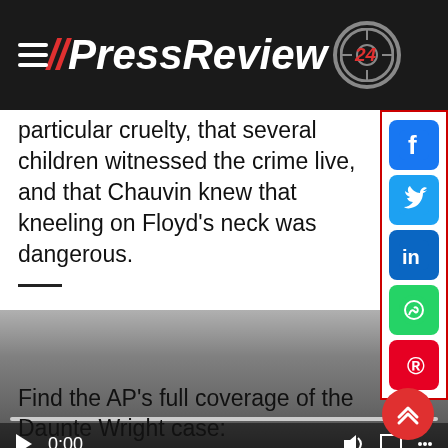// PressReview 24
particular cruelty, that several children witnessed the crime live, and that Chauvin knew that kneeling on Floyd’s neck was dangerous.
[Figure (screenshot): Video player with grey gradient background, showing 0:00 timestamp and playback controls including play button, mute, fullscreen icons, and a progress bar.]
Find the AP’s full coverage of the Daunte Wright case: